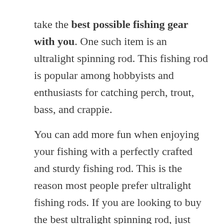take the best possible fishing gear with you. One such item is an ultralight spinning rod. This fishing rod is popular among hobbyists and enthusiasts for catching perch, trout, bass, and crappie.
You can add more fun when enjoying your fishing with a perfectly crafted and sturdy fishing rod. This is the reason most people prefer ultralight fishing rods. If you are looking to buy the best ultralight spinning rod, just take a look at the following options. Also, check out the flyzest.com